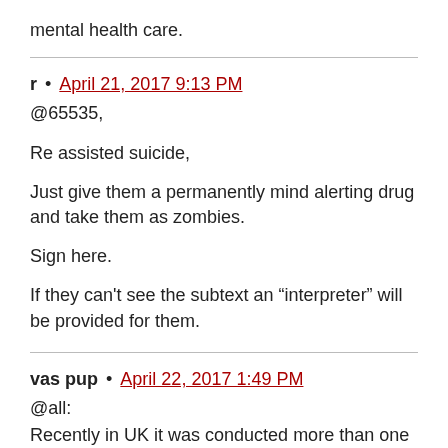mental health care.
r • April 21, 2017 9:13 PM
@65535,

Re assisted suicide,

Just give them a permanently mind alerting drug and take them as zombies.

Sign here.

If they can't see the subtext an “interpreter” will be provided for them.
vas pup • April 22, 2017 1:49 PM
@all:
Recently in UK it was conducted more than one clinical research on using psychodelic drugs under medical control for treatment mental health problems, severe depression in particular. Those drugs are not evil, but rather their